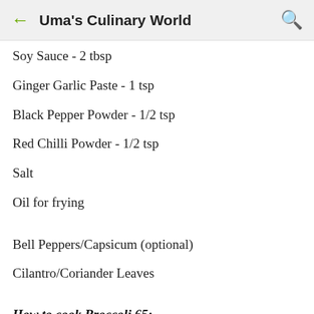Uma's Culinary World
Soy Sauce - 2 tbsp
Ginger Garlic Paste - 1 tsp
Black Pepper Powder - 1/2 tsp
Red Chilli Powder - 1/2 tsp
Salt
Oil for frying
Bell Peppers/Capsicum (optional)
Cilantro/Coriander Leaves
How to cook Broccoli 65:
Heat about 5 - 6 cups water in a pot.  When water starts